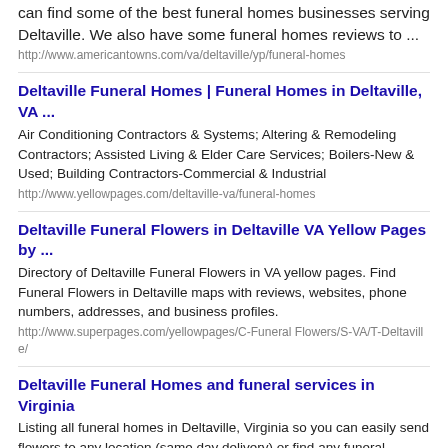can find some of the best funeral homes businesses serving Deltaville. We also have some funeral homes reviews to ...
http://www.americantowns.com/va/deltaville/yp/funeral-homes
Deltaville Funeral Homes | Funeral Homes in Deltaville, VA ...
Air Conditioning Contractors & Systems; Altering & Remodeling Contractors; Assisted Living & Elder Care Services; Boilers-New & Used; Building Contractors-Commercial & Industrial
http://www.yellowpages.com/deltaville-va/funeral-homes
Deltaville Funeral Flowers in Deltaville VA Yellow Pages by ...
Directory of Deltaville Funeral Flowers in VA yellow pages. Find Funeral Flowers in Deltaville maps with reviews, websites, phone numbers, addresses, and business profiles.
http://www.superpages.com/yellowpages/C-Funeral Flowers/S-VA/T-Deltaville/
Deltaville Funeral Homes and funeral services in Virginia
Listing all funeral homes in Deltaville, Virginia so you can easily send flowers to any location (same day delivery) or find any funeral service.
http://www.imortuary.com/funeral-homes/virginia/deltaville.php